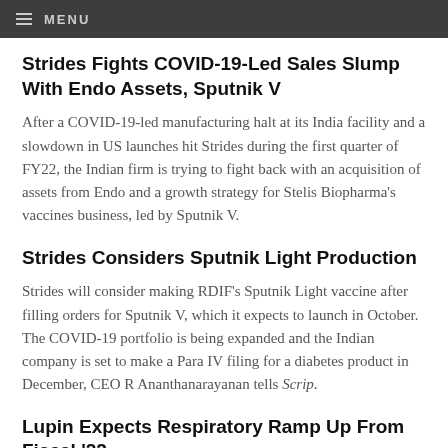MENU
Strides Fights COVID-19-Led Sales Slump With Endo Assets, Sputnik V
After a COVID-19-led manufacturing halt at its India facility and a slowdown in US launches hit Strides during the first quarter of FY22, the Indian firm is trying to fight back with an acquisition of assets from Endo and a growth strategy for Stelis Biopharma's vaccines business, led by Sputnik V.
Strides Considers Sputnik Light Production
Strides will consider making RDIF's Sputnik Light vaccine after filling orders for Sputnik V, which it expects to launch in October. The COVID-19 portfolio is being expanded and the Indian company is set to make a Para IV filing for a diabetes product in December, CEO R Ananthanarayanan tells Scrip.
Lupin Expects Respiratory Ramp Up From Fiscal '22